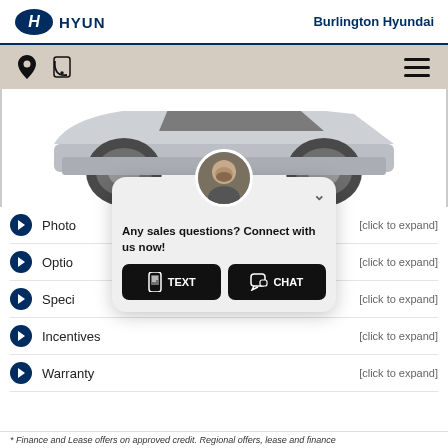[Figure (logo): Hyundai logo (blue oval with H) and HYUNDAI text]
Burlington Hyundai
[Figure (screenshot): Navigation bar with location pin icon, phone icon, and hamburger menu icon on beige background]
[Figure (photo): Partial view of a silver/gray Hyundai vehicle (front/side lower portion visible)]
[Figure (screenshot): Chat widget popup with man avatar photo, chevron/close button, text 'Any sales questions? Connect with us now!', TEXT button with phone icon, CHAT button with chat icon]
Photo [click to expand]
Optio [click to expand]
Speci [click to expand]
Incentives [click to expand]
Warranty [click to expand]
* Finance and Lease offers on approved credit. Regional offers, lease and finance